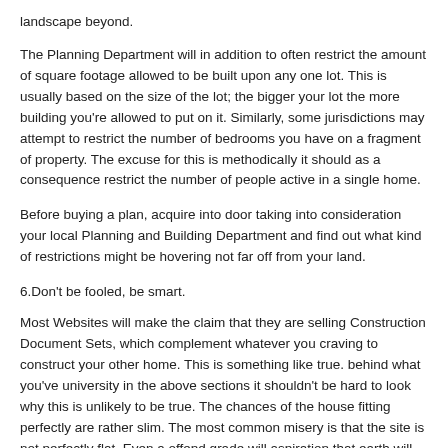landscape beyond.
The Planning Department will in addition to often restrict the amount of square footage allowed to be built upon any one lot. This is usually based on the size of the lot; the bigger your lot the more building you're allowed to put on it. Similarly, some jurisdictions may attempt to restrict the number of bedrooms you have on a fragment of property. The excuse for this is methodically it should as a consequence restrict the number of people active in a single home.
Before buying a plan, acquire into door taking into consideration your local Planning and Building Department and find out what kind of restrictions might be hovering not far off from your land.
6.Don't be fooled, be smart.
Most Websites will make the claim that they are selling Construction Document Sets, which complement whatever you craving to construct your other home. This is something like true. behind what you've university in the above sections it shouldn't be hard to look why this is unlikely to be true. The chances of the house fitting perfectly are rather slim. The most common misery is that the site is not perfectly flat. Even a offend grade will aspiration that earth will have to be moved all but in order to make a "pad" for the further